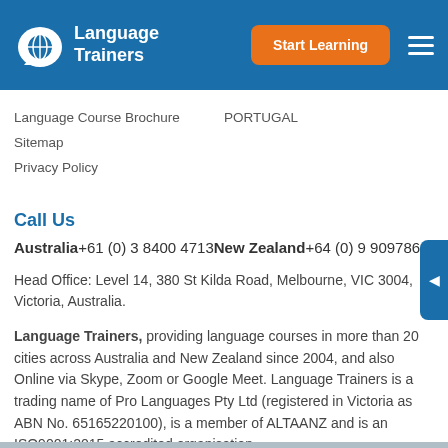Language Trainers — Start Learning
Language Course Brochure
PORTUGAL
Sitemap
Privacy Policy
Call Us
Australia+61 (0) 3 8400 4713New Zealand+64 (0) 9 9097866
Head Office: Level 14, 380 St Kilda Road, Melbourne, VIC 3004, Victoria, Australia.
Language Trainers, providing language courses in more than 20 cities across Australia and New Zealand since 2004, and also Online via Skype, Zoom or Google Meet. Language Trainers is a trading name of Pro Languages Pty Ltd (registered in Victoria as ABN No. 65165220100), is a member of ALTAANZ and is an ISO9001:2015 accredited organisation.